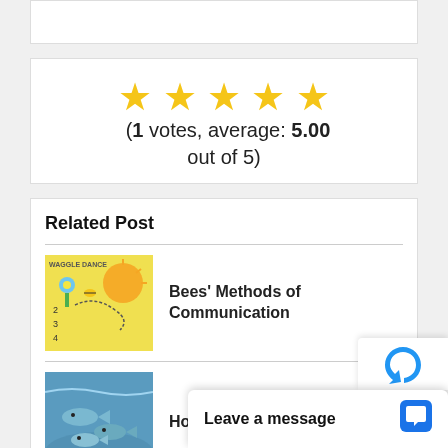(1 votes, average: 5.00 out of 5)
Related Post
Bees' Methods of Communication
[Figure (illustration): Thumbnail image for Bees Methods of Communication article, showing waggle dance diagram with sun and bees on yellow background]
How Do Fish Live in Water?
[Figure (photo): Thumbnail image for How Do Fish Live in Water article, showing fish swimming in water]
Has S
[Figure (photo): Thumbnail image with a person visible, partially cut off]
Leave a message